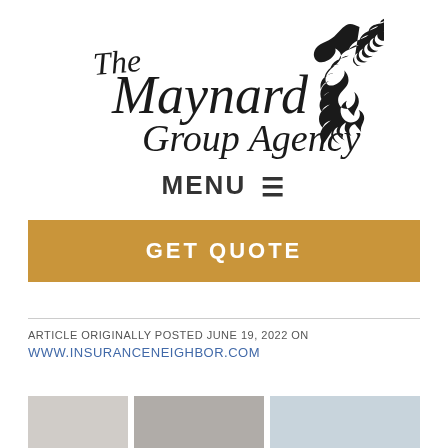[Figure (logo): The Maynard Group Agency logo with cursive/script text and a black eagle silhouette]
MENU ≡
GET QUOTE
ARTICLE ORIGINALLY POSTED JUNE 19, 2022 ON
WWW.INSURANCENEIGHBOR.COM
[Figure (photo): Partial photo strip at the bottom of the page showing interior/home scenes]